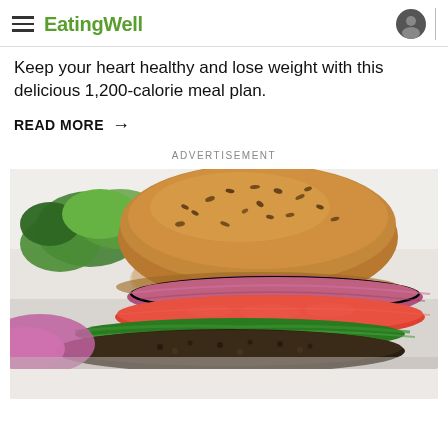EatingWell
Keep your heart healthy and lose weight with this delicious 1,200-calorie meal plan.
READ MORE →
ADVERTISEMENT
[Figure (photo): Close-up photo of a veggie burger with a seeded whole-grain bun, red onion, tomato slice, green lettuce, and a dark bean patty. Green leafy vegetables visible in background.]
[Figure (photo): Partial view of another food photo at the bottom of the page.]